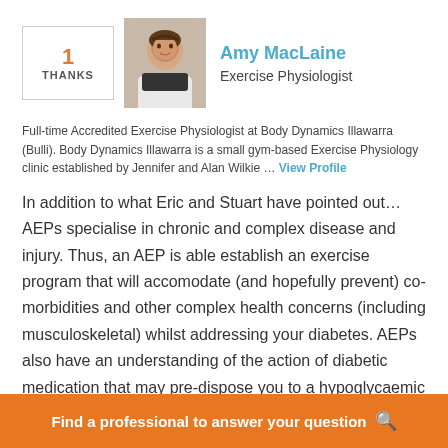[Figure (photo): Profile photo of Amy MacLaine, a woman smiling, with dark hair]
Amy MacLaine
Exercise Physiologist
Full-time Accredited Exercise Physiologist at Body Dynamics Illawarra (Bulli). Body Dynamics Illawarra is a small gym-based Exercise Physiology clinic established by Jennifer and Alan Wilkie … View Profile
In addition to what Eric and Stuart have pointed out… AEPs specialise in chronic and complex disease and injury. Thus, an AEP is able establish an exercise program that will accomodate (and hopefully prevent) co-morbidities and other complex health concerns (including musculoskeletal) whilst addressing your diabetes. AEPs also have an understanding of the action of diabetic medication that may pre-dispose you to a hypoglycaemic attack during exercise - therefore we are able
Find a professional to answer your question